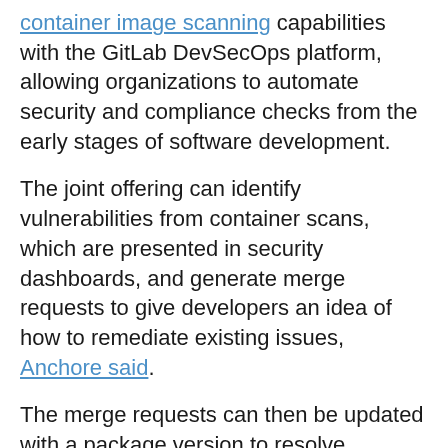container image scanning capabilities with the GitLab DevSecOps platform, allowing organizations to automate security and compliance checks from the early stages of software development.
The joint offering can identify vulnerabilities from container scans, which are presented in security dashboards, and generate merge requests to give developers an idea of how to remediate existing issues, Anchore said.
The merge requests can then be updated with a package version to resolve vulnerabilities. Additionally, the integration allows organizations to manage the risk profile in one place through GitLab's risk management framework.
Said Ziouani, chief executive officer and co-founder of Anchore, said in a statement that digital transformation, coupled with increasing cybersecurity threats, have necessitated the implementation of